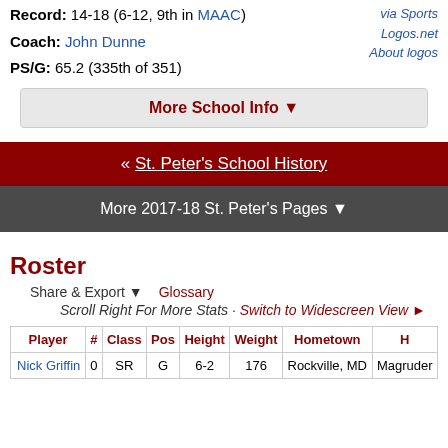via Sports Logos.net
About logos
Record: 14-18 (6-12, 9th in MAAC)
Coach: John Dunne
PS/G: 65.2 (335th of 351)
More School Info ▼
« St. Peter's School History
More 2017-18 St. Peter's Pages ▼
Roster
Share & Export ▼   Glossary
Scroll Right For More Stats · Switch to Widescreen View ►
| Player | # | Class | Pos | Height | Weight | Hometown | H |
| --- | --- | --- | --- | --- | --- | --- | --- |
| Nick Griffin | 0 | SR | G | 6-2 | 176 | Rockville, MD | Magruder |